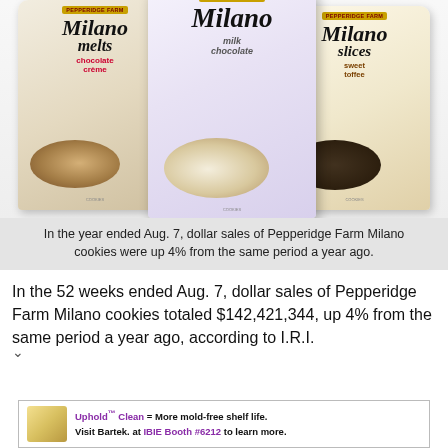[Figure (photo): Three Pepperidge Farm Milano cookie packages: Milano Melts chocolate crème (left), Milano milk chocolate (center), Milano Slices sweet toffee (right)]
In the year ended Aug. 7, dollar sales of Pepperidge Farm Milano cookies were up 4% from the same period a year ago.
In the 52 weeks ended Aug. 7, dollar sales of Pepperidge Farm Milano cookies totaled $142,421,344, up 4% from the same period a year ago, according to I.R.I.
Uphold™ Clean = More mold-free shelf life. Visit Bartek. at IBIE Booth #6212 to learn more.